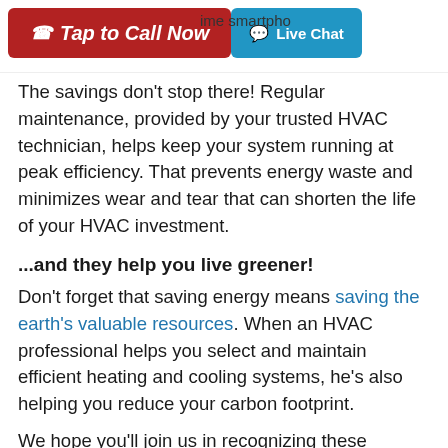Tap to Call Now | ime smartphone | Live Chat
The savings don't stop there! Regular maintenance, provided by your trusted HVAC technician, helps keep your system running at peak efficiency. That prevents energy waste and minimizes wear and tear that can shorten the life of your HVAC investment.
...and they help you live greener!
Don't forget that saving energy means saving the earth's valuable resources. When an HVAC professional helps you select and maintain efficient heating and cooling systems, he's also helping you reduce your carbon footprint.
We hope you'll join us in recognizing these amazing